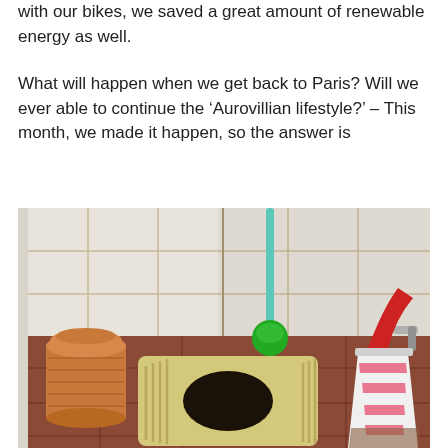with our bikes, we saved a great amount of renewable energy as well.
What will happen when we get back to Paris? Will we ever able to continue the ‘Aurovillian lifestyle?’ – This month, we made it happen, so the answer is
[Figure (photo): A squat toilet set into a brown tiled floor in a tiled bathroom. To the left is an orange plastic trash bin with a lid. In the center-top area is a green toilet brush with a long turquoise handle leaning against white tiles. To the right is a pink and white striped bucket with a red cloth/bag inside. A metal faucet or pipe is visible on the right wall.]